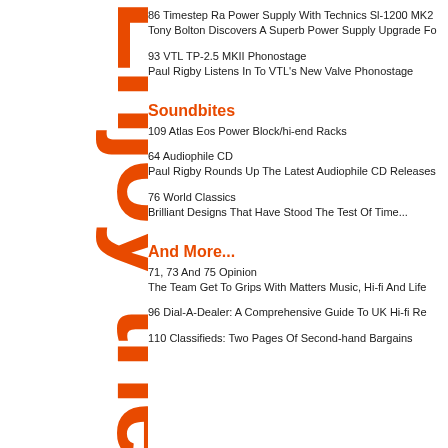[Figure (illustration): Vertical orange bold text reading 'Enjoy the Mu' (cropped) rotated 90 degrees along the left sidebar]
86 Timestep Ra Power Supply With Technics Sl-1200 MK2
Tony Bolton Discovers A Superb Power Supply Upgrade Fo
93 VTL TP-2.5 MKII Phonostage
Paul Rigby Listens In To VTL's New Valve Phonostage
Soundbites
109 Atlas Eos Power Block/hi-end Racks
64 Audiophile CD
Paul Rigby Rounds Up The Latest Audiophile CD Releases
76 World Classics
Brilliant Designs That Have Stood The Test Of Time...
And More...
71, 73 And 75 Opinion
The Team Get To Grips With Matters Music, Hi-fi And Life
96 Dial-A-Dealer: A Comprehensive Guide To UK Hi-fi Re
110 Classifieds: Two Pages Of Second-hand Bargains